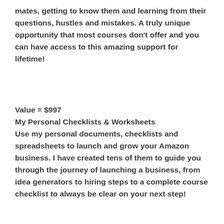mates, getting to know them and learning from their questions, hustles and mistakes. A truly unique opportunity that most courses don't offer and you can have access to this amazing support for lifetime!
Value = $997
My Personal Checklists & Worksheets
Use my personal documents, checklists and spreadsheets to launch and grow your Amazon business. I have created tens of them to guide you through the journey of launching a business, from idea generators to hiring steps to a complete course checklist to always be clear on your next step!
Value = $97
Facebook Mastermind Group (Lifetime Access)
One of my favourite features of this course is the Facebook